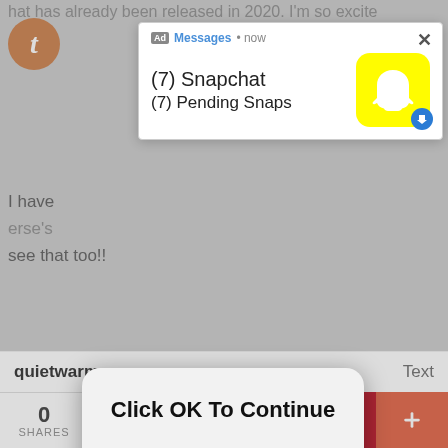hat has already been released in 2020. I'm so excite
[Figure (screenshot): Tumblr circular orange avatar with italic t logo]
I have erse's see that too!!
[Figure (screenshot): Ad popup notification showing Snapchat Messages with (7) Snapchat (7) Pending Snaps and Snapchat yellow ghost logo]
[Figure (screenshot): iOS-style dialog with text 'Click OK To Continue' and OK button]
#isaac r #cartoons #cartoo #OH MY GOD I #disney #disney cha #disney ra
51 notes · View notes
quietwarm · a year ago   Text
0 SHARES
[Figure (screenshot): Social share bar with Facebook, Twitter, email, Pinterest, and more buttons]